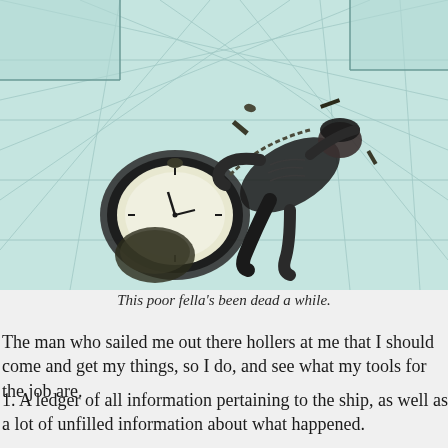[Figure (illustration): Black and white illustration showing a dead man lying on a tiled floor from an overhead/isometric perspective, with a large pocket watch/clock visible near the body and scattered tools or items around him.]
This poor fella's been dead a while.
The man who sailed me out there hollers at me that I should come and get my things, so I do, and see what my tools for the job are.
1. A ledger of all information pertaining to the ship, as well as a lot of unfilled information about what happened.